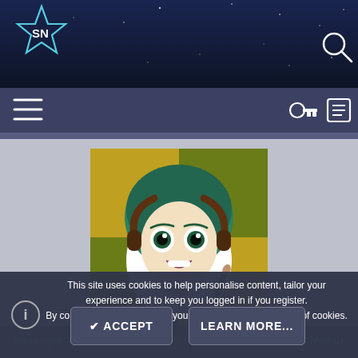[Figure (screenshot): Website header with star logo and navigation bar on dark blue starry background]
[Figure (illustration): Anime-style cartoon character avatar with green hair, headphones, on green/yellow background]
PearlStarLight5
Comic Sans on everything · 19 · From my brain
Messages
Reaction score
Medals
This site uses cookies to help personalise content, tailor your experience and to keep you logged in if you register. By continuing to use this site, you are consenting to our use of cookies.
✔ ACCEPT
LEARN MORE...